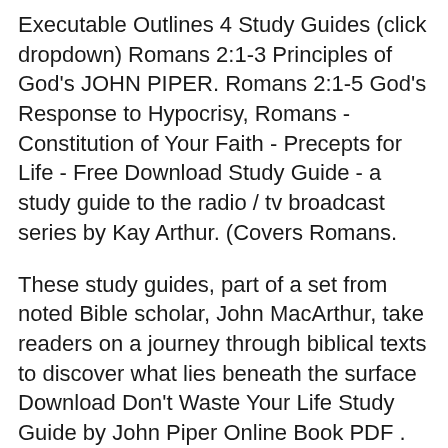Executable Outlines 4 Study Guides (click dropdown) Romans 2:1-3 Principles of God's JOHN PIPER. Romans 2:1-5 God's Response to Hypocrisy, Romans - Constitution of Your Faith - Precepts for Life - Free Download Study Guide - a study guide to the radio / tv broadcast series by Kay Arthur. (Covers Romans.
These study guides, part of a set from noted Bible scholar, John MacArthur, take readers on a journey through biblical texts to discover what lies beneath the surface Download Don't Waste Your Life Study Guide by John Piper Online Book PDF . Version of PDF eBook and the name of writer and